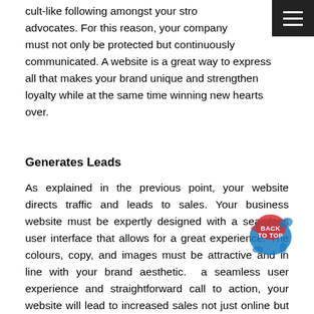cult-like following amongst your stro... advocates. For this reason, your company must not only be protected but continuously communicated. A website is a great way to express all that makes your brand unique and strengthen loyalty while at the same time winning new hearts over.
Generates Leads
As explained in the previous point, your website directs traffic and leads to sales. Your business website must be expertly designed with a seamless user interface that allows for a great experience. The colours, copy, and images must be attractive and in line with your brand aesthetic. a seamless user experience and straightforward call to action, your website will lead to increased sales not just online but could also easily direct traffic to